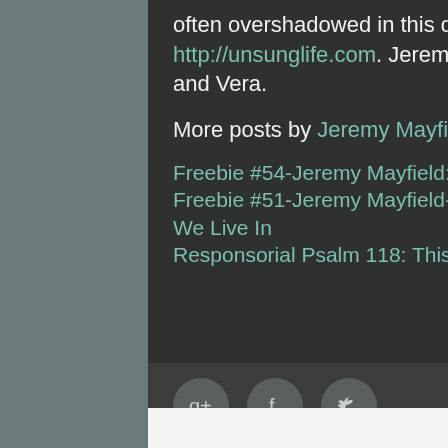often overshadowed in this dark world. Find out more here: http://unsunglife.com. Jeremy is husband to Jesse and father to Levi, Abel, and Vera.
More posts by Jeremy Mayfield
Freebie #54-Jeremy Mayfield: The Psalms are Different Than the iPhone
Freebie #51-Jeremy Mayfield-Psalms: Dealing With the Injustice in the World We Live In
Responsorial Psalm 118: This Is the Day the Lord Has Made!
[Figure (other): Social share buttons: Google+, Facebook, Twitter]